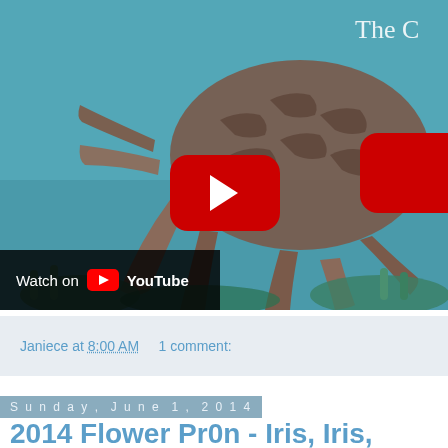[Figure (screenshot): YouTube video thumbnail showing an octopus underwater with coral reef background. A red YouTube play button is centered on the image. Bottom-left shows a 'Watch on YouTube' badge with dark background. Top-right shows partial text 'The C'.]
Janiece at 8:00 AM    1 comment:
Sunday, June 1, 2014
2014 Flower Pr0n - Iris, Iris, Everywhere
[Figure (photo): Partial preview strip of another photo at bottom of page.]